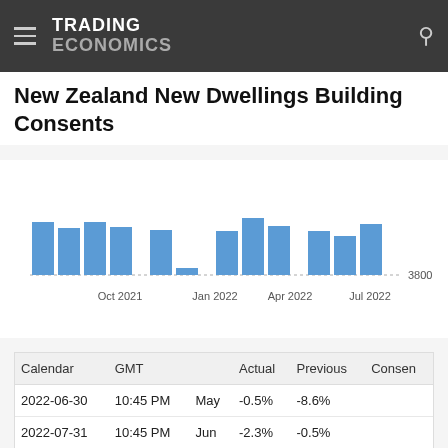TRADING ECONOMICS
New Zealand New Dwellings Building Consents
[Figure (bar-chart): New Zealand New Dwellings Building Consents]
| Calendar | GMT |  | Actual | Previous | Consen |
| --- | --- | --- | --- | --- | --- |
| 2022-06-30 | 10:45 PM | May | -0.5% | -8.6% |  |
| 2022-07-31 | 10:45 PM | Jun | -2.3% | -0.5% |  |